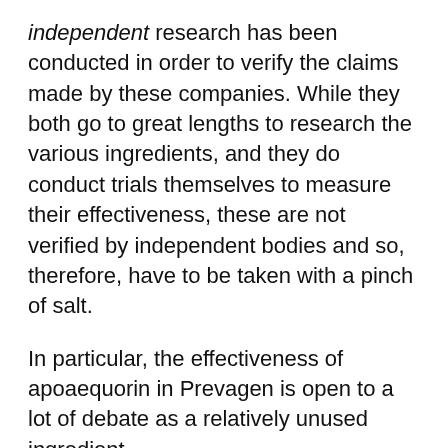independent research has been conducted in order to verify the claims made by these companies. While they both go to great lengths to research the various ingredients, and they do conduct trials themselves to measure their effectiveness, these are not verified by independent bodies and so, therefore, have to be taken with a pinch of salt.
In particular, the effectiveness of apoaequorin in Prevagen is open to a lot of debate as a relatively unused ingredient.
Neuriva vs Prevagen – The Differences